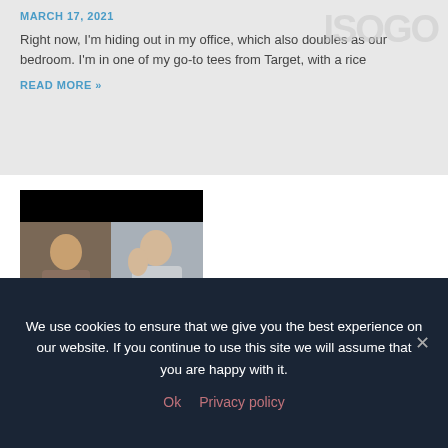MARCH 17, 2021
Right now, I'm hiding out in my office, which also doubles as our bedroom. I'm in one of my go-to tees from Target, with a rice
READ MORE »
[Figure (photo): Screenshot of a video call showing two people: on the left, a man with glasses smiling, and on the right, a younger person waving at the camera. The image has black bars at the top and bottom.]
ITV 133 | Success Map 2021 with Murray Guest
We use cookies to ensure that we give you the best experience on our website. If you continue to use this site we will assume that you are happy with it.
Ok  Privacy policy